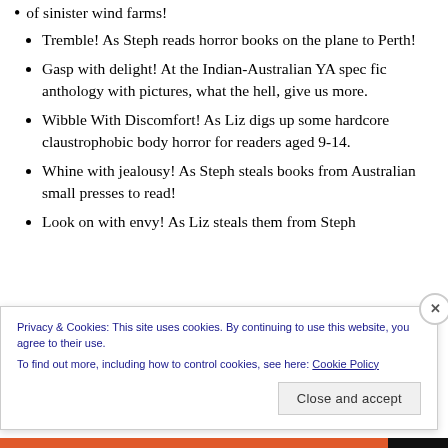of sinister wind farms!
Tremble! As Steph reads horror books on the plane to Perth!
Gasp with delight! At the Indian-Australian YA spec fic anthology with pictures, what the hell, give us more.
Wibble With Discomfort! As Liz digs up some hardcore claustrophobic body horror for readers aged 9-14.
Whine with jealousy! As Steph steals books from Australian small presses to read!
Look on with envy! As Liz steals them from Steph
Privacy & Cookies: This site uses cookies. By continuing to use this website, you agree to their use. To find out more, including how to control cookies, see here: Cookie Policy